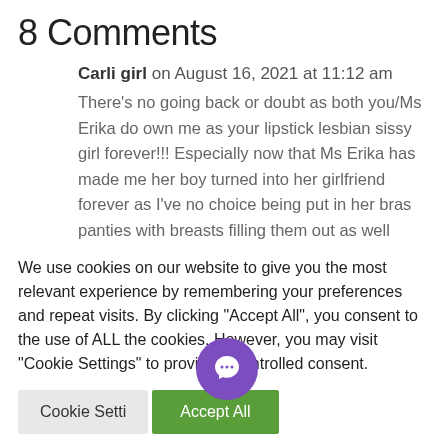8 Comments
Carli girl on August 16, 2021 at 11:12 am
There’s no going back or doubt as both you/Ms Erika do own me as your lipstick lesbian sissy girl forever!!! Especially now that Ms Erika has made me her boy turned into her girlfriend forever as I’ve no choice being put in her bras panties with breasts filling them out as well makeup lipstick and wigs. With being your nephew turned into niece, I
We use cookies on our website to give you the most relevant experience by remembering your preferences and repeat visits. By clicking “Accept All”, you consent to the use of ALL the cookies. However, you may visit “Cookie Settings” to provide a controlled consent.
Cookie Settings   Accept All